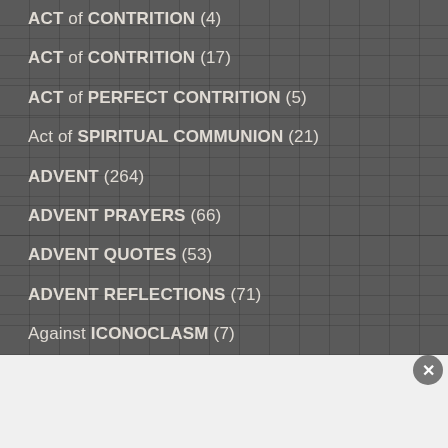ACT of CONTRITION (4)
ACT of CONTRITION (17)
ACT of PERFECT CONTRITION (5)
Act of SPIRITUAL COMMUNION (21)
ADVENT (264)
ADVENT PRAYERS (66)
ADVENT QUOTES (53)
ADVENT REFLECTIONS (71)
Against ICONOCLASM (7)
APRIL – MONTH of the RESURRECTION and the BLESSED SACAMENT (6)
Advertisements
[Figure (other): Seamless pizza delivery advertisement banner with pizza image, seamless logo, and ORDER NOW button]